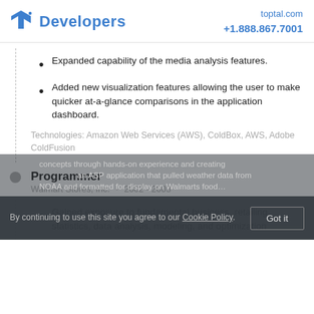Developers | toptal.com +1.888.867.7001
Expanded capability of the media analysis features.
Added new visualization features allowing the user to make quicker at-a-glance comparisons in the application dashboard.
Technologies: Amazon Web Services (AWS), ColdBox, AWS, Adobe ColdFusion
Programmer
Walmart Stores, Inc.  ·  2002 - 2003
Gained exposure to fundamental business, retailing, statistics, data analysis, modeling, and optimization
By continuing to use this site you agree to our Cookie Policy.
Got it